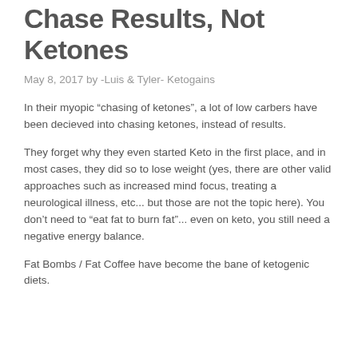Chase Results, Not Ketones
May 8, 2017 by -Luis & Tyler- Ketogains
In their myopic “chasing of ketones”, a lot of low carbers have been decieved into chasing ketones, instead of results.
They forget why they even started Keto in the first place, and in most cases, they did so to lose weight (yes, there are other valid approaches such as increased mind focus, treating a neurological illness, etc... but those are not the topic here). You don’t need to “eat fat to burn fat”... even on keto, you still need a negative energy balance.
Fat Bombs / Fat Coffee have become the bane of ketogenic diets.